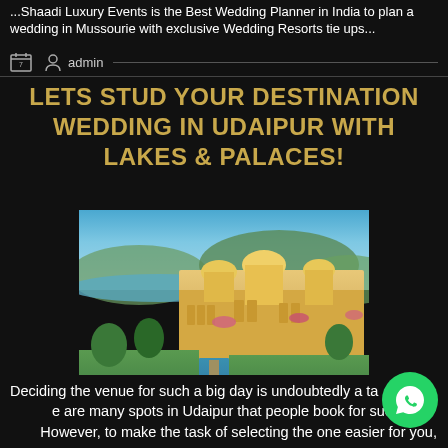...Shaadi Luxury Events is the Best Wedding Planner in India to plan a wedding in Mussourie with exclusive Wedding Resorts tie ups...
admin
LETS STUD YOUR DESTINATION WEDDING IN UDAIPUR WITH LAKES & PALACES!
[Figure (photo): Aerial view of an ornate Rajasthani palace complex with golden domed pavilions, long reflecting pool, lush gardens, and a lake with blue sky and hills in the background — Udaipur destination wedding venue]
Deciding the venue for such a big day is undoubtedly a task. There are many spots in Udaipur that people book for such a big day. However, to make the task of selecting the one easier for you,